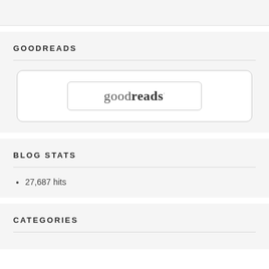GOODREADS
[Figure (logo): Goodreads logo inside a rounded rectangle button, nested within a larger rounded white box]
BLOG STATS
27,687 hits
CATEGORIES